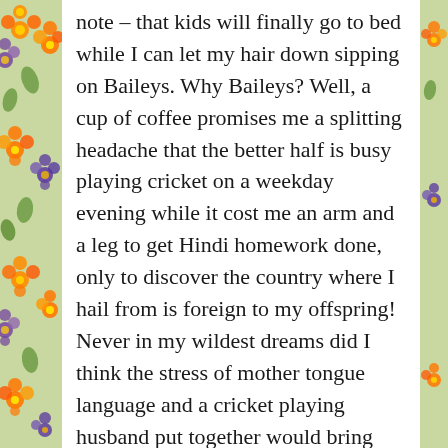note – that kids will finally go to bed while I can let my hair down sipping on Baileys. Why Baileys? Well, a cup of coffee promises me a splitting headache that the better half is busy playing cricket on a weekday evening while it cost me an arm and a leg to get Hindi homework done, only to discover the country where I hail from is foreign to my offspring! Never in my wildest dreams did I think the stress of mother tongue language and a cricket playing husband put together would bring out the drunkard in me. Fortunately, I am sane enough not to offer the same stress relieving formula to my kids.
P.S. Home is where the heart is. Home is also where you spend your most impressionable